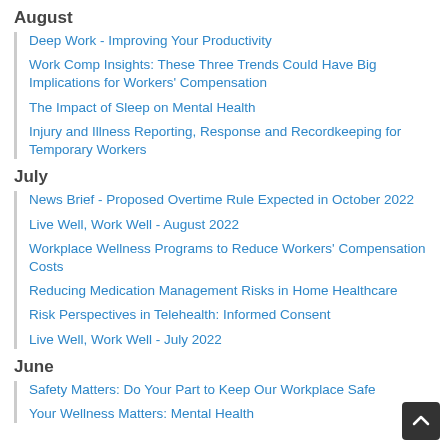August
Deep Work - Improving Your Productivity
Work Comp Insights: These Three Trends Could Have Big Implications for Workers' Compensation
The Impact of Sleep on Mental Health
Injury and Illness Reporting, Response and Recordkeeping for Temporary Workers
July
News Brief - Proposed Overtime Rule Expected in October 2022
Live Well, Work Well - August 2022
Workplace Wellness Programs to Reduce Workers' Compensation Costs
Reducing Medication Management Risks in Home Healthcare
Risk Perspectives in Telehealth: Informed Consent
Live Well, Work Well - July 2022
June
Safety Matters: Do Your Part to Keep Our Workplace Safe
Your Wellness Matters: Mental Health